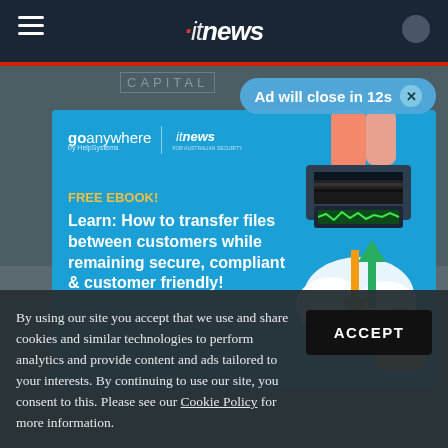itnews
[Figure (illustration): Advertisement banner for GoAnywhere by HelpSystems featuring an ebook offer. Blue background with illustration of hands using a laptop with cloud file transfer graphics. Text: FREE EBOOK! Learn: How to transfer files between customers while remaining secure, compliant & customer friendly!]
Ad will close in 12s ✕
By using our site you accept that we use and share cookies and similar technologies to perform analytics and provide content and ads tailored to your interests. By continuing to use our site, you consent to this. Please see our Cookie Policy for more information.